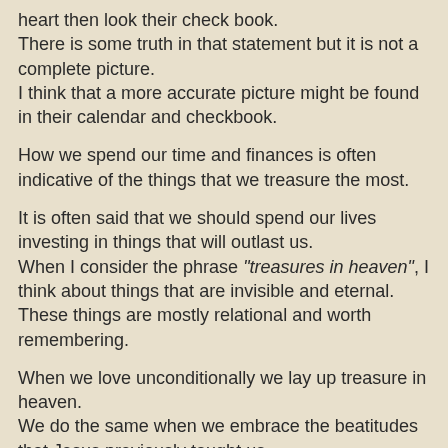heart then look their check book.
There is some truth in that statement but it is not a complete picture.
I think that a more accurate picture might be found in their calendar and checkbook.
How we spend our time and finances is often indicative of the things that we treasure the most.
It is often said that we should spend our lives investing in things that will outlast us. When I consider the phrase "treasures in heaven", I think about things that are invisible and eternal. These things are mostly relational and worth remembering.
When we love unconditionally we lay up treasure in heaven. We do the same when we embrace the beatitudes that Jesus previously taught us. When I think about heaven I think of a place of worship.
When we love and worship, we lay up heavenly treasure.